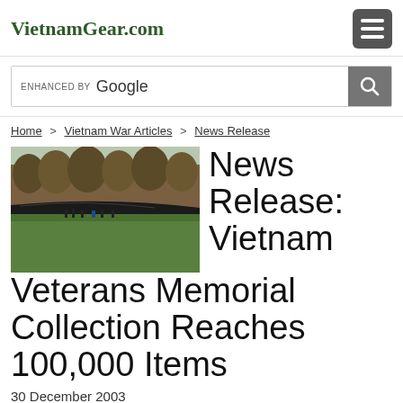VietnamGear.com
ENHANCED BY Google [search bar]
Home > Vietnam War Articles > News Release
[Figure (photo): Outdoor photo of the Vietnam Veterans Memorial wall with trees in background and green grass in foreground, people visible near the wall]
News Release: Vietnam Veterans Memorial Collection Reaches 100,000 Items
30 December 2003